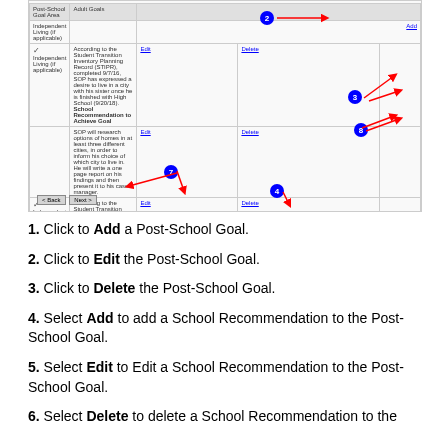[Figure (screenshot): Screenshot of a software interface showing a table with Post-School Goal entries (Independent Living rows), with numbered blue circle annotations (1-8) and red arrows pointing to Add, Edit, Delete buttons and other UI elements. Navigation buttons Back and Next visible at bottom.]
1.  Click to Add a Post-School Goal.
2.  Click to Edit the Post-School Goal.
3.  Click to Delete the Post-School Goal.
4. Select Add to add a School Recommendation to the Post-School Goal.
5.  Select Edit to Edit a School Recommendation to the Post-School Goal.
6.  Select Delete to delete a School Recommendation to the